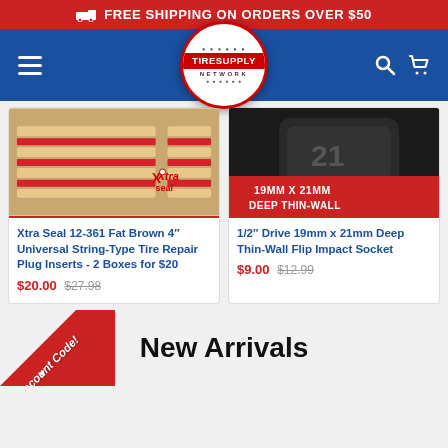FREE SHIPPING ON ORDERS OVER $50
[Figure (logo): Tire Supply Network logo in circular badge with red border]
[Figure (photo): Xtra Seal tire repair plug inserts product photo]
Xtra Seal 12-361 Fat Brown 4" Universal String-Type Tire Repair Plug Inserts - 2 Boxes for $20
$20.00 $27.98
[Figure (photo): 1/2 inch Drive 19mm x 21mm Deep Thin-Wall Flip Impact Socket product photo]
1/2" Drive 19mm x 21mm Deep Thin-Wall Flip Impact Socket
$9.00 $12.99
New Arrivals
Discount Code!